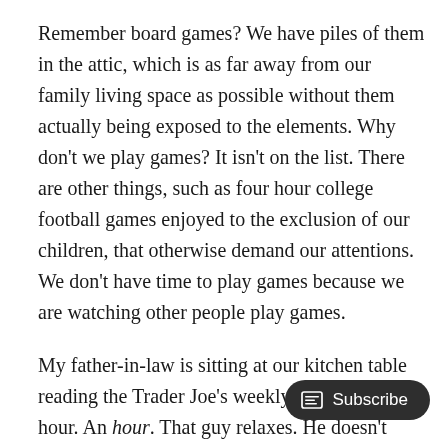Remember board games? We have piles of them in the attic, which is as far away from our family living space as possible without them actually being exposed to the elements. Why don't we play games? It isn't on the list. There are other things, such as four hour college football games enjoyed to the exclusion of our children, that otherwise demand our attentions. We don't have time to play games because we are watching other people play games.
My father-in-law is sitting at our kitchen table reading the Trader Joe's weekly shopper. For an hour. An hour. That guy relaxes. He doesn't have a list, though, so I am not sure if his relaxing officially cou... look relaxed.